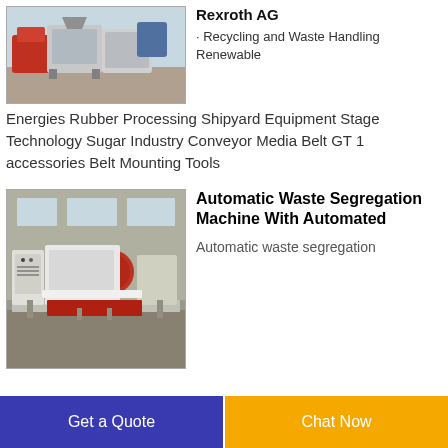[Figure (photo): Industrial recycling or shredding machine equipment in a factory setting, with red and metallic components.]
Rexroth AG
· Recycling and Waste Handling Renewable Energies Rubber Processing Shipyard Equipment Stage Technology Sugar Industry Conveyor Media Belt GT 1 accessories Belt Mounting Tools
[Figure (photo): Automatic waste segregation machine with automated systems, large industrial equipment with red and white components on a factory floor.]
Automatic Waste Segregation Machine With Automated
Automatic waste segregation